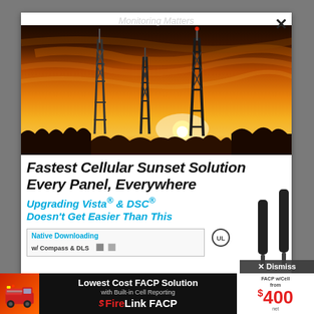[Figure (photo): Cell towers silhouetted against an orange sunset sky]
Fastest Cellular Sunset Solution Every Panel, Everywhere
Upgrading Vista® & DSC® Doesn't Get Easier Than This
Native Downloading w/ Compass & DLS
StarLinkConnect
Radio $0.95*
[Figure (logo): FireLink FACP advertisement banner with text: Lowest Cost FACP Solution with Built-in Cell Reporting. FireLink FACP. FACP w/Cell from $400 net.]